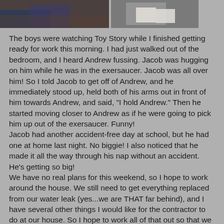[Figure (photo): Two cropped photos side by side at the top of the page. Left photo shows a person in blue clothing. Right photo shows hands with white gloves.]
The boys were watching Toy Story while I finished getting ready for work this morning. I had just walked out of the bedroom, and I heard Andrew fussing. Jacob was hugging on him while he was in the exersaucer. Jacob was all over him! So I told Jacob to get off of Andrew, and he immediately stood up, held both of his arms out in front of him towards Andrew, and said, "I hold Andrew." Then he started moving closer to Andrew as if he were going to pick him up out of the exersaucer. Funny!
Jacob had another accident-free day at school, but he had one at home last night. No biggie! I also noticed that he made it all the way through his nap without an accident. He's getting so big!
We have no real plans for this weekend, so I hope to work around the house. We still need to get everything replaced from our water leak (yes...we are THAT far behind), and I have several other things I would like for the contractor to do at our house. So I hope to work all of that out so that we can get moving on actually fixing everything. I think Brian wants to take Jacob to the grocery store after. Maybe I can